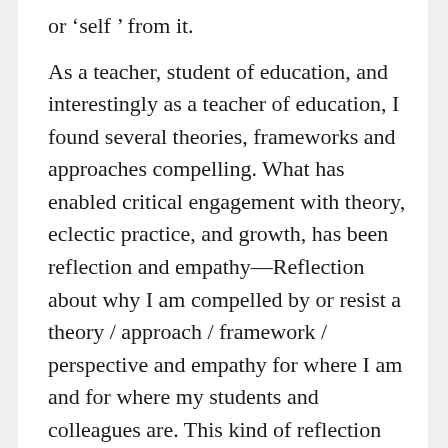or 'self ' from it.
As a teacher, student of education, and interestingly as a teacher of education, I found several theories, frameworks and approaches compelling. What has enabled critical engagement with theory, eclectic practice, and growth, has been reflection and empathy—Reflection about why I am compelled by or resist a theory / approach / framework / perspective and empathy for where I am and for where my students and colleagues are. This kind of reflection and empathy has almost always provided the much needed pause before and during